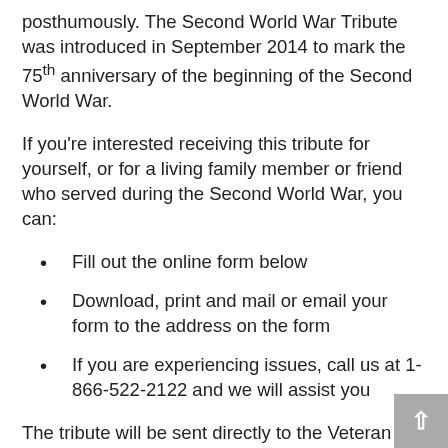posthumously. The Second World War Tribute was introduced in September 2014 to mark the 75th anniversary of the beginning of the Second World War.
If you're interested receiving this tribute for yourself, or for a living family member or friend who served during the Second World War, you can:
Fill out the online form below
Download, print and mail or email your form to the address on the form
If you are experiencing issues, call us at 1-866-522-2122 and we will assist you
The tribute will be sent directly to the Veteran unless otherwise requested in the comments section on the form.